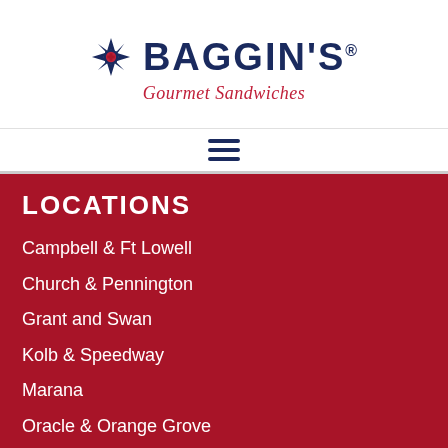[Figure (logo): Baggin's Gourmet Sandwiches logo with decorative icon on the left, bold navy text BAGGIN'S with registered trademark symbol, and red italic tagline 'Gourmet Sandwiches']
[Figure (other): Hamburger menu icon (three horizontal navy lines)]
LOCATIONS
Campbell & Ft Lowell
Church & Pennington
Grant and Swan
Kolb & Speedway
Marana
Oracle & Orange Grove
Oro Valley
Rita Ranch